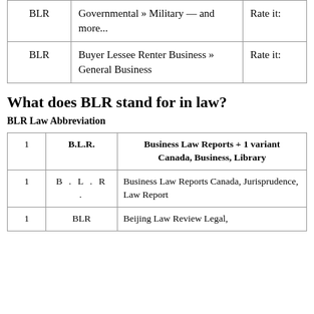|  |  |  |
| --- | --- | --- |
| BLR | Governmental » Military — and more... | Rate it: |
| BLR | Buyer Lessee Renter Business » General Business | Rate it: |
What does BLR stand for in law?
BLR Law Abbreviation
|  |  |  |
| --- | --- | --- |
| 1 | B.L.R. | Business Law Reports + 1 variant
Canada, Business, Library |
| 1 | B . L . R . | Business Law Reports Canada, Jurisprudence, Law Report |
| 1 | BLR | Beijing Law Review Legal, ... |